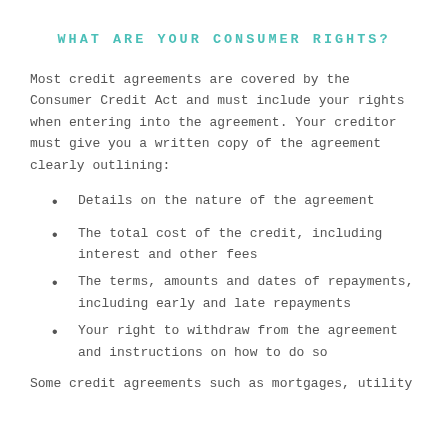WHAT ARE YOUR CONSUMER RIGHTS?
Most credit agreements are covered by the Consumer Credit Act and must include your rights when entering into the agreement. Your creditor must give you a written copy of the agreement clearly outlining:
Details on the nature of the agreement
The total cost of the credit, including interest and other fees
The terms, amounts and dates of repayments, including early and late repayments
Your right to withdraw from the agreement and instructions on how to do so
Some credit agreements such as mortgages, utility